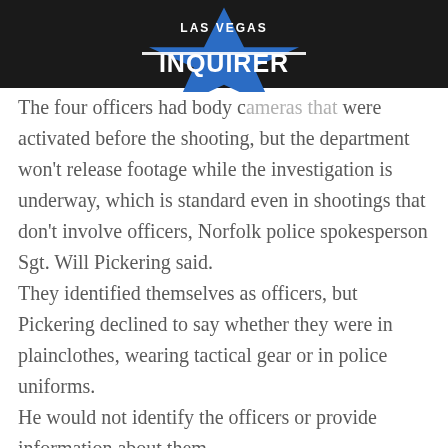LAS VEGAS INQUIRER
The four officers had body cameras that were activated before the shooting, but the department won’t release footage while the investigation is underway, which is standard even in shootings that don’t involve officers, Norfolk police spokesperson Sgt. Will Pickering said.
They identified themselves as officers, but Pickering declined to say whether they were in plainclothes, wearing tactical gear or in police uniforms.
He would not identify the officers or provide information about them.
He also would not say whether police recovered a gun from Beekman at the scene.
NORFOLK POLICE LIEUTENANT FIRED FOR